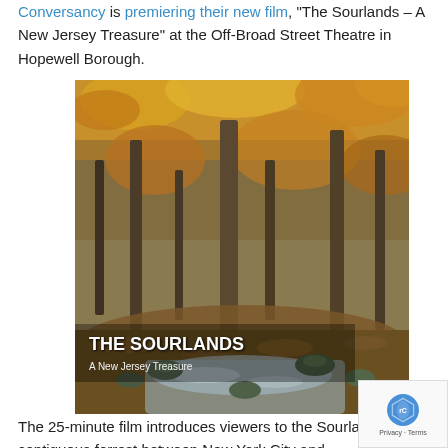Conversancy is premiering their new film, "The Sourlands – A New Jersey Treasure" at the Off-Broad Street Theatre in Hopewell Borough.
[Figure (photo): A forest scene with autumn foliage showing orange and yellow leaves on trees, a rocky stream in the foreground with moss-covered rocks, and text overlay reading 'THE SOURLANDS – A New Jersey Treasure']
The 25-minute film introduces viewers to the Sourlands largest contiguous forrest between New York City and